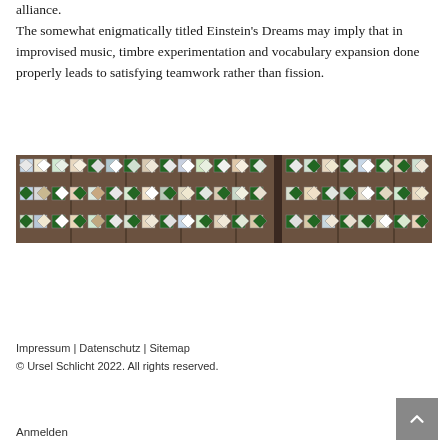alliance. The somewhat enigmatically titled Einstein's Dreams may imply that in improvised music, timbre experimentation and vocabulary expansion done properly leads to satisfying teamwork rather than fission.
[Figure (photo): A long horizontal display of quilt panels mounted on a wooden fence outdoors. The quilts feature geometric patterns with green, white, brown, and blue squares and diamond shapes.]
Impressum | Datenschutz | Sitemap
© Ursel Schlicht 2022. All rights reserved.
Anmelden